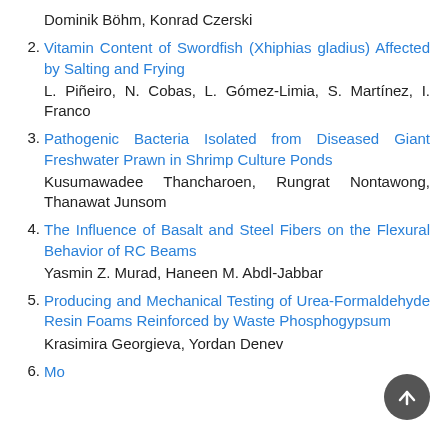Dominik Böhm, Konrad Czerski
2. Vitamin Content of Swordfish (Xhiphias gladius) Affected by Salting and Frying
L. Piñeiro, N. Cobas, L. Gómez-Limia, S. Martínez, I. Franco
3. Pathogenic Bacteria Isolated from Diseased Giant Freshwater Prawn in Shrimp Culture Ponds
Kusumawadee Thancharoen, Rungrat Nontawong, Thanawat Junsom
4. The Influence of Basalt and Steel Fibers on the Flexural Behavior of RC Beams
Yasmin Z. Murad, Haneen M. Abdl-Jabbar
5. Producing and Mechanical Testing of Urea-Formaldehyde Resin Foams Reinforced by Waste Phosphogypsum
Krasimira Georgieva, Yordan Denev
6. (partial — cut off)